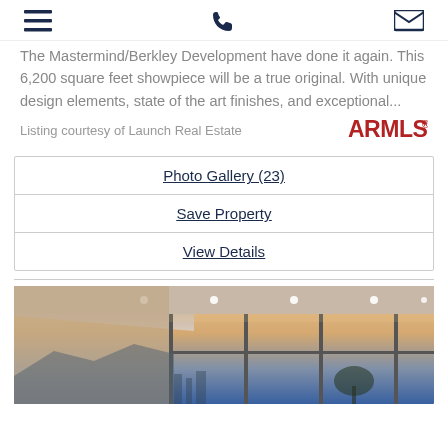menu / phone / email icons
The Mastermind/Berkley Development have done it again. This 6,200 square feet showpiece will be a true original. With unique design elements, state of the art finishes, and exceptional...
Listing courtesy of Launch Real Estate
[Figure (logo): ARMLS logo in red bold text]
Photo Gallery (23)
Save Property
View Details
[Figure (photo): Interior architectural photo of a modern home with floor-to-ceiling glass windows, white ceiling with recessed lighting, and sunset sky view]